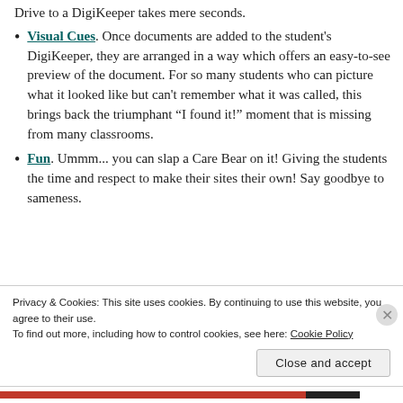Drive to a DigiKeeper takes mere seconds.
Visual Cues. Once documents are added to the student's DigiKeeper, they are arranged in a way which offers an easy-to-see preview of the document. For so many students who can picture what it looked like but can't remember what it was called, this brings back the triumphant “I found it!” moment that is missing from many classrooms.
Fun. Ummm... you can slap a Care Bear on it! Giving the students the time and respect to make their sites their own! Say goodbye to sameness.
Privacy & Cookies: This site uses cookies. By continuing to use this website, you agree to their use.
To find out more, including how to control cookies, see here: Cookie Policy
Close and accept